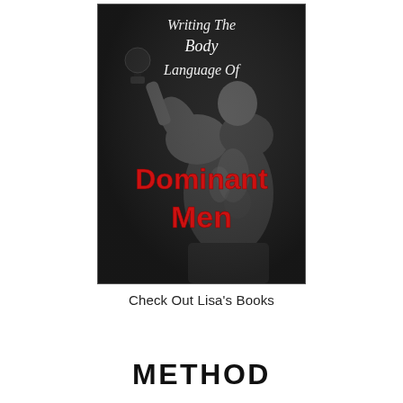[Figure (illustration): Book cover for 'Writing The Body Language Of Dominant Men'. Black and white photo of a muscular man lifting a dumbbell, shown from behind/side. White italic text at top reads 'Writing The Body Language Of'. Large bold red text reads 'Dominant Men'.]
Check Out Lisa's Books
METHOD